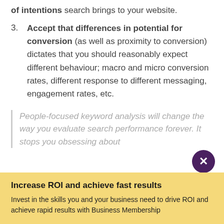of intentions search brings to your website.
3. Accept that differences in potential for conversion (as well as proximity to conversion) dictates that you should reasonably expect different behaviour; macro and micro conversion rates, different response to different messaging, engagement rates, etc.
People-focused keyword analysis will change the way you evaluate search performance forever. It stops you obsessing about
Increase ROI and achieve fast results
Invest in the skills you and your business need to drive ROI and achieve rapid results with Business Membership